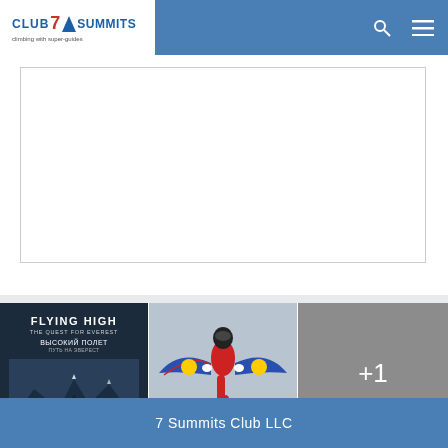Club 7 Summits — climbing with super-guides
[Figure (screenshot): Embedded content area with border, white background — main article area]
[Figure (photo): Flying High: The Quest for Everest movie poster with mountain background]
[Figure (photo): Wingsuit flyer in Red Bull gear against sky background]
[Figure (other): Grey tile with '+1' overlay indicating one more image]
7 Summits Club LLC